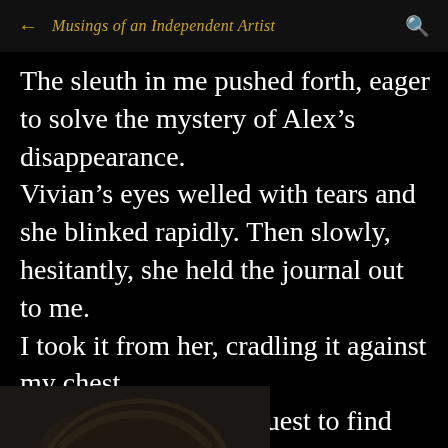← Musings of an Independent Artist 🔍
The sleuth in me pushed forth, eager to solve the mystery of Alex's disappearance.
Vivian's eyes welled with tears and she blinked rapidly. Then slowly, hesitantly, she held the journal out to me.
I took it from her, cradling it against my chest.
And now I was on a quest to find out what had happened to Rafe's best friend Alex.
[Figure (photo): Bottom portion of a photo showing the top of a person's head with dark hair, cropped at the bottom of the page.]